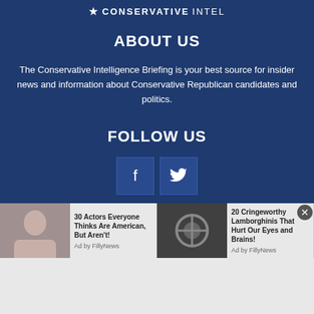★ CONSERVATIVEINTEL
ABOUT US
The Conservative Intelligence Briefing is your best source for insider news and information about Conservative Republican candidates and politics.
FOLLOW US
[Figure (infographic): Two social media icon buttons: Facebook (f) and Twitter (bird icon) on dark blue background]
[Figure (infographic): Advertisement strip with two ad items: '30 Actors Everyone Thinks Are American, But Aren't! Ad by FillyNews' with actress photo, and '20 Cringeworthy Lamborghinis That Hurt Our Eyes and Brains! Ad by FillyNews' with car engine photo]